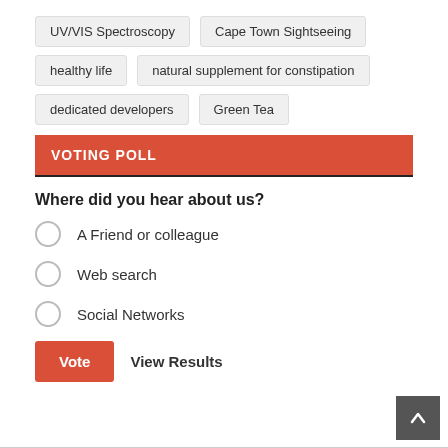UV/VIS Spectroscopy
Cape Town Sightseeing
healthy life
natural supplement for constipation
dedicated developers
Green Tea
VOTING POLL
Where did you hear about us?
A Friend or colleague
Web search
Social Networks
Vote  View Results